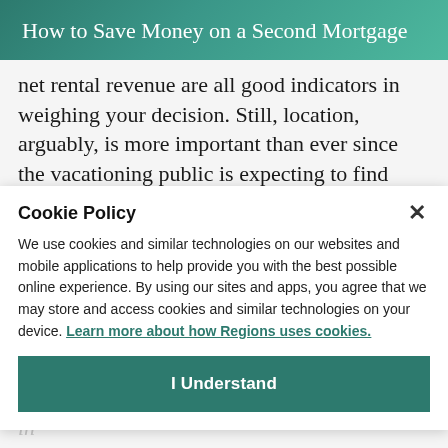How to Save Money on a Second Mortgage
net rental revenue are all good indicators in weighing your decision. Still, location, arguably, is more important than ever since the vacationing public is expecting to find bargains in rental properties in the current climate.
Cookie Policy
We use cookies and similar technologies on our websites and mobile applications to help provide you with the best possible online experience. By using our sites and apps, you agree that we may store and access cookies and similar technologies on your device. Learn more about how Regions uses cookies.
I Understand
as conducive to purchasing a second property in